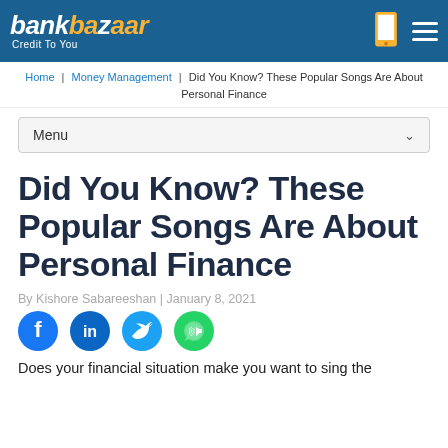bankbazaar Credit To You
Home | Money Management | Did You Know? These Popular Songs Are About Personal Finance
Menu
Did You Know? These Popular Songs Are About Personal Finance
By Kishore Sabareeshan | January 8, 2021
[Figure (infographic): Social share buttons: Facebook, LinkedIn, Twitter, WhatsApp]
Does your financial situation make you want to sing the